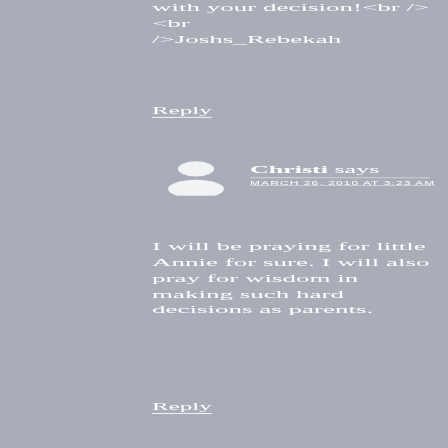with your decision!<br /><br />Joshs_Rebekah
Reply
Christi says
MARCH 26, 2010 AT 3:23 AM
I will be praying for little Annie for sure. I will also pray for wisdom in making such hard decisions as parents.
Reply